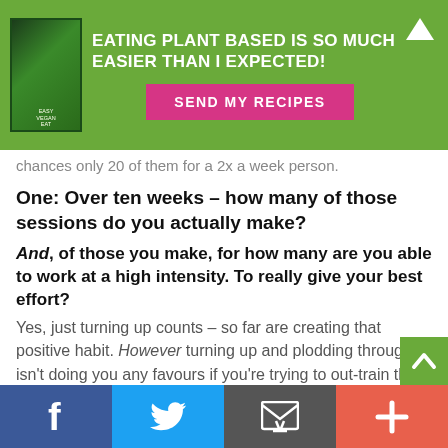[Figure (infographic): Green banner ad with book image, headline 'EATING PLANT BASED IS SO MUCH EASIER THAN I EXPECTED!' and pink 'SEND MY RECIPES' button with up-arrow icon]
chances only 20 of them for a 2x a week person.
One: Over ten weeks – how many of those sessions do you actually make?
And, of those you make, for how many are you able to work at a high intensity. To really give your best effort? Yes, just turning up counts – so far are creating that positive habit. However turning up and plodding through isn't doing you any favours if you're trying to out-train that burger and 'a couple' of chips last night.
Two: Are you tracking your food to check your
[Figure (infographic): Green scroll-to-top button with white chevron/caret icon]
Facebook | Twitter | Email | Plus social share buttons